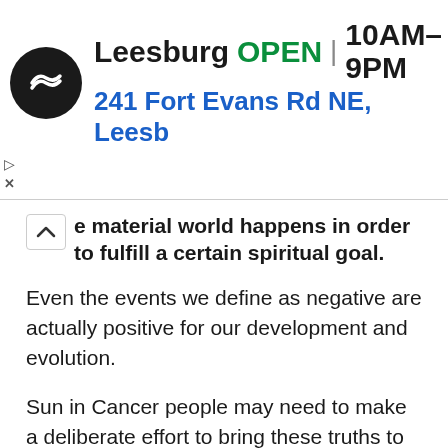[Figure (screenshot): Ad banner for a store in Leesburg showing logo, OPEN status, hours 10AM-9PM, address 241 Fort Evans Rd NE, Leesb, and a navigation arrow icon]
e material world happens in order to fulfill a certain spiritual goal.
Even the events we define as negative are actually positive for our development and evolution.
Sun in Cancer people may need to make a deliberate effort to bring these truths to their minds and put them into practice. But once they do, they will be amazed at how much easier their lives have become. A little more faith and trust can do wonders for these people.